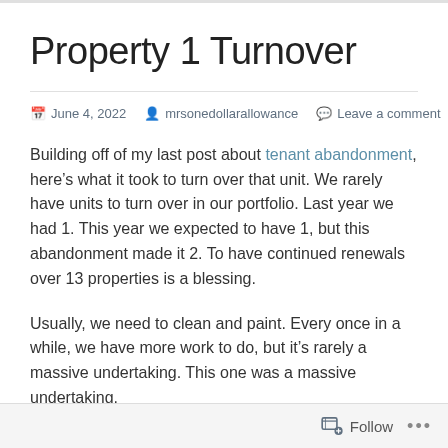Property 1 Turnover
June 4, 2022   mrsonedollarallowance   Leave a comment
Building off of my last post about tenant abandonment, here’s what it took to turn over that unit. We rarely have units to turn over in our portfolio. Last year we had 1. This year we expected to have 1, but this abandonment made it 2. To have continued renewals over 13 properties is a blessing.
Usually, we need to clean and paint. Every once in a while, we have more work to do, but it’s rarely a massive undertaking. This one was a massive undertaking.